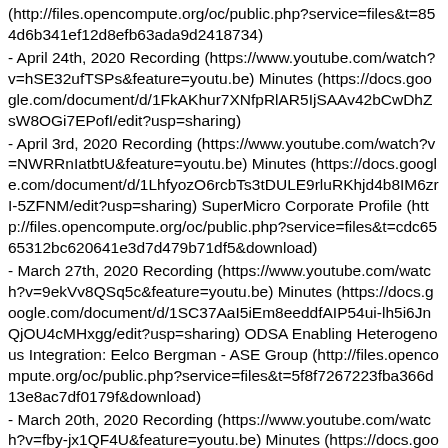(http://files.opencompute.org/oc/public.php?service=files&t=854d6b341ef12d8efb63ada9d2418734)
- April 24th, 2020 Recording (https://www.youtube.com/watch?v=hSE32ufTSPs&feature=youtu.be) Minutes (https://docs.google.com/document/d/1FkAKhur7XNfpRlAR5IjSAAv42bCwDhZsW8OGi7EPofI/edit?usp=sharing)
- April 3rd, 2020 Recording (https://www.youtube.com/watch?v=NWRRnIatbtU&feature=youtu.be) Minutes (https://docs.google.com/document/d/1LhfyozO6rcbTs3tDULE9rluRKhjd4b8IM6zrI-5ZFNM/edit?usp=sharing) SuperMicro Corporate Profile (http://files.opencompute.org/oc/public.php?service=files&t=cdc6565312bc620641e3d7d479b71df5&download)
- March 27th, 2020 Recording (https://www.youtube.com/watch?v=9ekVv8QSq5c&feature=youtu.be) Minutes (https://docs.google.com/document/d/1SC37AaI5iEm8eeddfAIP54ui-lh5i6JnQjOU4cMHxgg/edit?usp=sharing) ODSA Enabling Heterogenous Integration: Eelco Bergman - ASE Group (http://files.opencompute.org/oc/public.php?service=files&t=5f8f7267223fba366d13e8ac7df0179f&download)
- March 20th, 2020 Recording (https://www.youtube.com/watch?v=fby-jx1QF4U&feature=youtu.be) Minutes (https://docs.google.com/document/d/1nv6_TWxpFfDv1jLlZNiuX-6Dasg_bU4Uay7oIhfUBr4/edit)
- March 13th, 2020 Recording (https://www.youtube.com/watch?v=Xprx_pEUZt8&feature=youtu.be) Minutes (https://docs.g